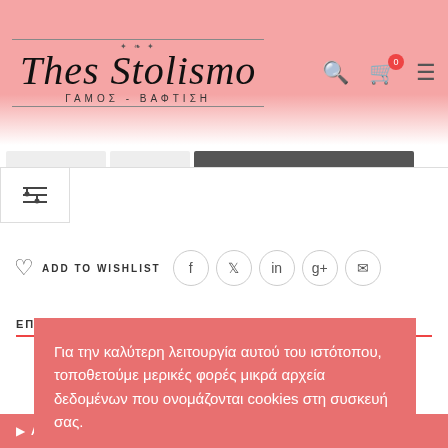Thes Stolismo — ΓΑΜΟΣ - ΒΑΦΤΙΣΗ
ADD TO WISHLIST
ΕΠΙΒΛΕΣΗ ΠΛΗΡΟΦΟΡΙΕΣ
Για την καλύτερη λειτουργία αυτού του ιστότοπου, τοποθετούμε μερικές φορές μικρά αρχεία δεδομένων που ονομάζονται cookies στη συσκευή σας.
Αποδοχή
Περισσότερα
Ρυθμίσεις Cookies
ΑΞΙΟΛΟΓΗΣΕΙΣ (0)